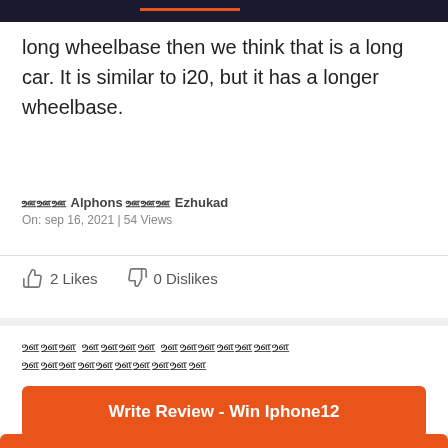long wheelbase then we think that is a long car. It is similar to i20, but it has a longer wheelbase.
ஊஊஊ Alphons ஊஊஊ Ezhukad
On: sep 16, 2021 | 54 Views
2 Likes   0 Dislikes
ஊஊஊ ஊஊஊஊ ஊஊஊஊஊஊஊ ஊஊஊஊஊஊஊஊஊஊ
4.8 ஊஊஊஊஊஊஊஊஊஊஊஊஊ 16 ஊஊஊஊஊஊஊஊ ஊஊஊஊஊஊஊஊஊ
Write Review - Win Iphone12